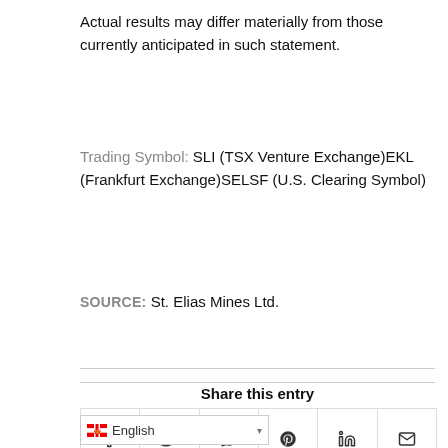Actual results may differ materially from those currently anticipated in such statement.
Trading Symbol: SLI (TSX Venture Exchange)EKL (Frankfurt Exchange)SELSF (U.S. Clearing Symbol)
SOURCE: St. Elias Mines Ltd.
Share this entry
[Figure (other): Social share icons row: Facebook, Twitter, WhatsApp, Pinterest, LinkedIn, Email]
English (language selector with Canadian flag)